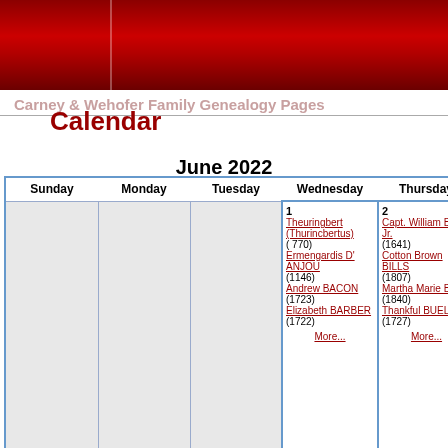Carney & Wehofer Family Genealogy Pages
Calendar
June 2022
| Sunday | Monday | Tuesday | Wednesday | Thursday |
| --- | --- | --- | --- | --- |
|  |  |  | 1 Theuringbert (Thurincbertus) ( 770) Ermengardis D' ANJOU (1146) Andrew BACON (1723) Elizabeth BARBER (1722) More... | 2 Capt. William BALL, Jr. (1641) Cotton Brown BILLS (1807) Martha Marie BIRD (1840) Thankful BUELL (1727) More... |